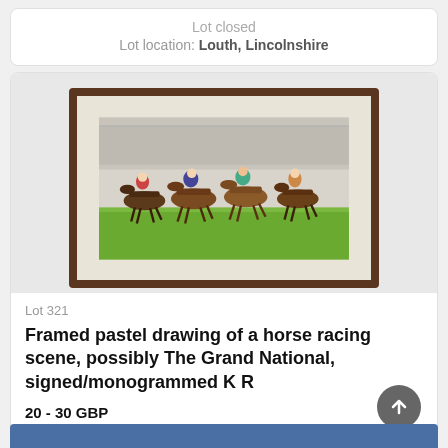Lot closed
Lot location: Louth, Lincolnshire
[Figure (photo): A framed pastel drawing of a horse racing scene in a dark brown wooden frame with white mat, showing multiple jockeys on horses racing, possibly at The Grand National]
Lot 321
Framed pastel drawing of a horse racing scene, possibly The Grand National, signed/monogrammed K R
20 - 30 GBP
Estimate